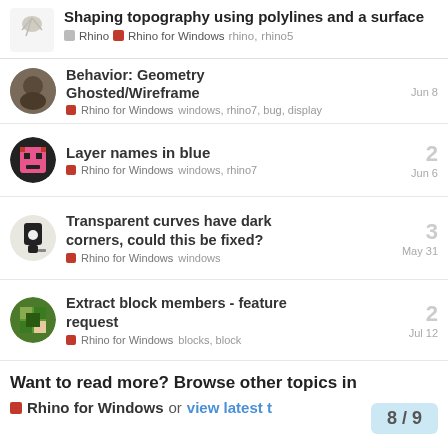Shaping topography using polylines and a surface — Rhino | Rhino for Windows rhino, rhino5
Behavior: Geometry Ghosted/Wireframe — Rhino for Windows windows, rhino7, bug, display Jun 8
Layer names in blue — Rhino for Windows windows, rhino7 Jun 6 — replies: 2
Transparent curves have dark corners, could this be fixed? — Rhino for Windows windows May 31 — replies: 3
Extract block members - feature request — Rhino for Windows blocks, block Jul 12 — replies: 2
Want to read more? Browse other topics in
Rhino for Windows or view latest t
8 / 9